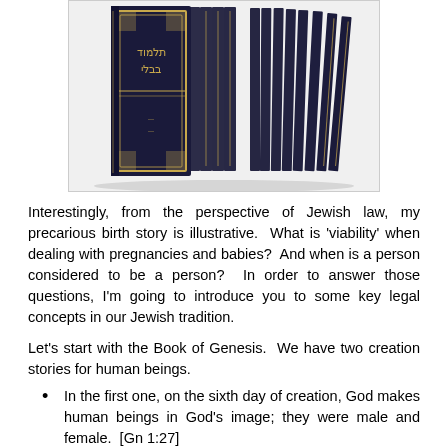[Figure (photo): A set of dark navy blue Talmud books with gold lettering arranged in a row, fanning out. The front book faces forward showing Hebrew text on the cover.]
Interestingly, from the perspective of Jewish law, my precarious birth story is illustrative.  What is 'viability' when dealing with pregnancies and babies?  And when is a person considered to be a person?  In order to answer those questions, I'm going to introduce you to some key legal concepts in our Jewish tradition.
Let's start with the Book of Genesis.  We have two creation stories for human beings.
In the first one, on the sixth day of creation, God makes human beings in God's image; they were male and female.  [Gn 1:27]